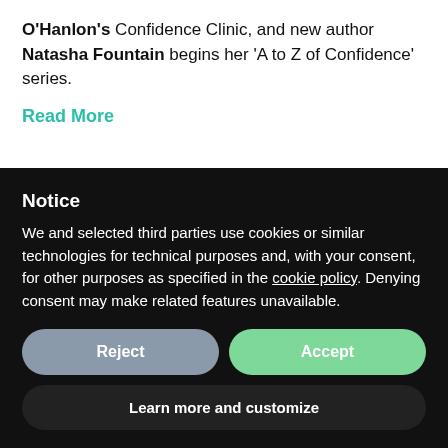O'Hanlon's Confidence Clinic, and new author Natasha Fountain begins her 'A to Z of Confidence' series.
Read More
Notice
We and selected third parties use cookies or similar technologies for technical purposes and, with your consent, for other purposes as specified in the cookie policy. Denying consent may make related features unavailable.
Reject
Accept
Learn more and customize